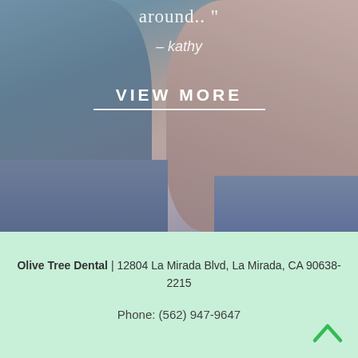[Figure (photo): Background photo of two people sitting close together. One person is wearing a gray/blue shirt and jeans, the other is wearing a pink/mauve top with a gray jacket. Overlaid text shows a quote and a VIEW MORE button.]
around.. "
– kathy
VIEW MORE
Olive Tree Dental | 12804 La Mirada Blvd, La Mirada, CA 90638-2215
Phone: (562) 947-9647